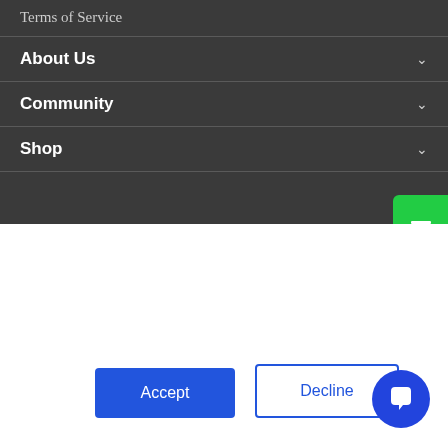Terms of Service
About Us
Community
Shop
This website stores cookies on your computer. These cookies are used to improve your website experience and provide more personalized services to you, both on this website and through other media. To find out more about the cookies we use, see our Privacy Policy.
We won't track your information when you visit our site. But in order to comply with your preferences, we'll have to use just one tiny cookie so that you're not asked to make this choice again.